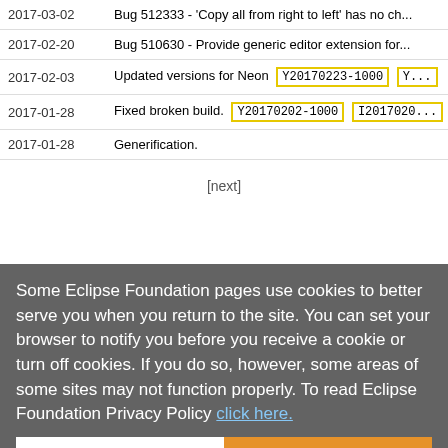| Date | Description |
| --- | --- |
| 2017-03-02 | Bug 512333 - 'Copy all from right to left' has no ch... |
| 2017-02-20 | Bug 510630 - Provide generic editor extension for... |
| 2017-02-03 | Updated versions for Neon  Y20170223-1000  Y... |
| 2017-01-28 | Fixed broken build.  Y20170202-1000  I2017020... |
| 2017-01-28 | Generification. |
[next]
Some Eclipse Foundation pages use cookies to better serve you when you return to the site. You can set your browser to notify you before you receive a cookie or turn off cookies. If you do so, however, some areas of some sites may not function properly. To read Eclipse Foundation Privacy Policy click here.
Decline
Allow cookies
Back to the top
Eclipse Foundation
About Us
Contact Us
Donate
Governance
Logo and Artwork
Board of Directors